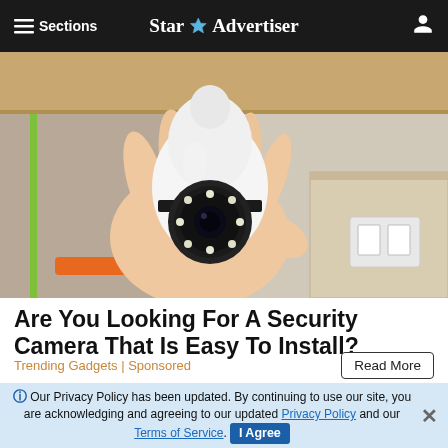≡ Sections  Star Advertiser
[Figure (photo): A hand holding a white bulb-shaped security camera with a circular lens and LED ring, photographed against a workshop background with cardboard boxes.]
Are You Looking For A Security Camera That Is Easy To Install?
Trending Gadgets | Sponsored
Read More
Our Privacy Policy has been updated. By continuing to use our site, you are acknowledging and agreeing to our updated Privacy Policy and our Terms of Service. I Agree